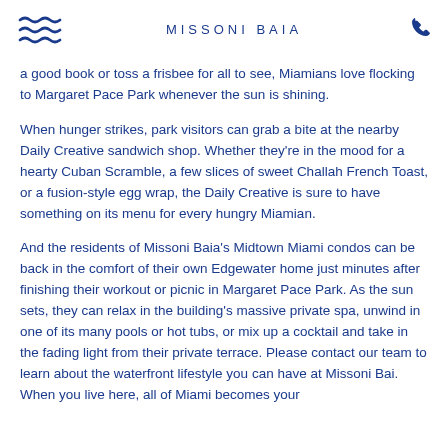MISSONI BAIA
a good book or toss a frisbee for all to see, Miamians love flocking to Margaret Pace Park whenever the sun is shining.
When hunger strikes, park visitors can grab a bite at the nearby Daily Creative sandwich shop. Whether they're in the mood for a hearty Cuban Scramble, a few slices of sweet Challah French Toast, or a fusion-style egg wrap, the Daily Creative is sure to have something on its menu for every hungry Miamian.
And the residents of Missoni Baia's Midtown Miami condos can be back in the comfort of their own Edgewater home just minutes after finishing their workout or picnic in Margaret Pace Park. As the sun sets, they can relax in the building's massive private spa, unwind in one of its many pools or hot tubs, or mix up a cocktail and take in the fading light from their private terrace. Please contact our team to learn about the waterfront lifestyle you can have at Missoni Bai. When you live here, all of Miami becomes your